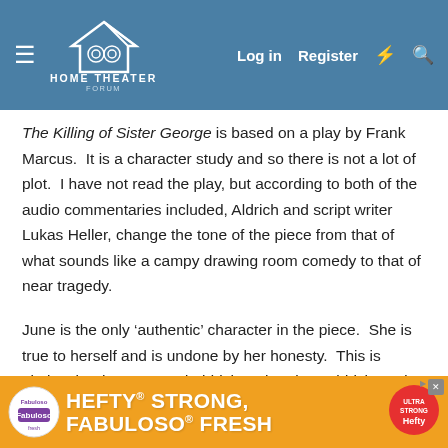Home Theater Forum — Log in | Register
The Killing of Sister George is based on a play by Frank Marcus.  It is a character study and so there is not a lot of plot.  I have not read the play, but according to both of the audio commentaries included, Aldrich and script writer Lukas Heller, change the tone of the piece from that of what sounds like a campy drawing room comedy to that of near tragedy.
June is the only ‘authentic’ character in the piece.  She is true to herself and is undone by her honesty.  This is obviously what attracted Aldrich to the play.  Aldrich made several movies set in and out of show business that...
[Figure (screenshot): Hefty advertisement banner: HEFTY STRONG, FABULOSO FRESH with orange background and Hefty/Fabuloso logos]